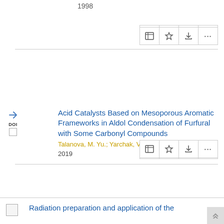1998
Acid Catalysts Based on Mesoporous Aromatic Frameworks in Aldol Condensation of Furfural with Some Carbonyl Compounds
Talanova, M. Yu.; Yarchak, V. A.; Karakhanov, E. A.
2019
The lattice energy of lanthanoid borohydrides
Nasrulloeva, D.Kh.; Nasrulloev, Kh.; Badalov, A.
Radioecological monitoring of biosphere and radiation safety of Tajikistan
2010
Radiation preparation and application of the